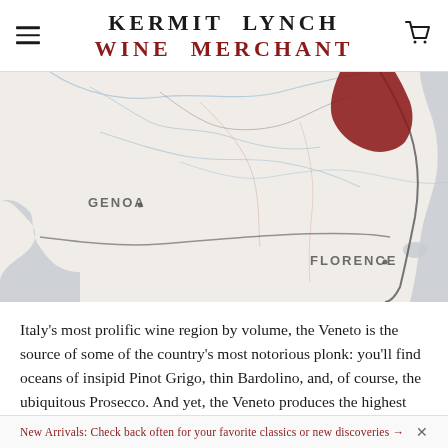KERMIT LYNCH
WINE MERCHANT
[Figure (map): A map of northern Italy showing regions including Genoa and Florence. The Veneto region is highlighted in dark red/maroon in the upper right. The map shows terrain features, city labels, rivers, and geographic borders. The sea/water areas are shown in gray.]
Italy's most prolific wine region by volume, the Veneto is the source of some of the country's most notorious plonk: you'll find oceans of insipid Pinot Grigo, thin Bardolino, and, of course, the ubiquitous Prosecco. And yet, the Veneto produces the highest
New Arrivals: Check back often for your favorite classics or new discoveries →